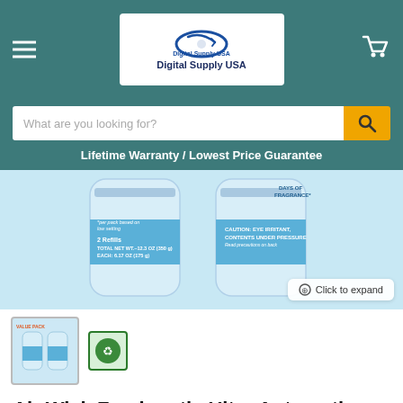[Figure (logo): Digital Supply USA logo with circular arrow icon and company name text]
What are you looking for?
Lifetime Warranty / Lowest Price Guarantee
[Figure (photo): Air Wick Freshmatic Ultra Automatic Spray refill cans packaging showing 2 Refills, Total Net Wt. 12.3 oz (350g), Each: 6.17 oz (175g), with caution text: Eye Irritant, Contents Under Pressure]
Click to expand
[Figure (photo): Thumbnail of Air Wick Freshmatic Ultra product packaging]
[Figure (photo): Secondary thumbnail with green border showing Air Wick product icon]
Air Wick Freshmatic Ultra Automatic Spray